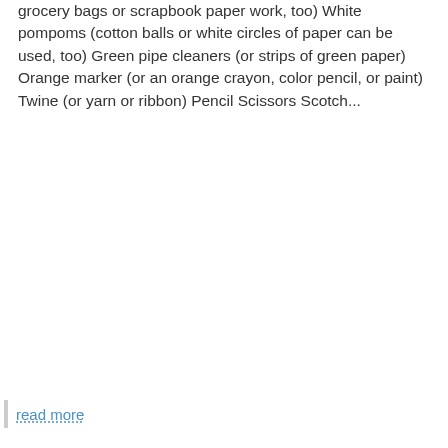grocery bags or scrapbook paper work, too) White pompoms (cotton balls or white circles of paper can be used, too) Green pipe cleaners (or strips of green paper) Orange marker (or an orange crayon, color pencil, or paint) Twine (or yarn or ribbon) Pencil Scissors Scotch...
read more
arts and crafts
CREATE WITH ME: SPRING BUNNY CRAFT